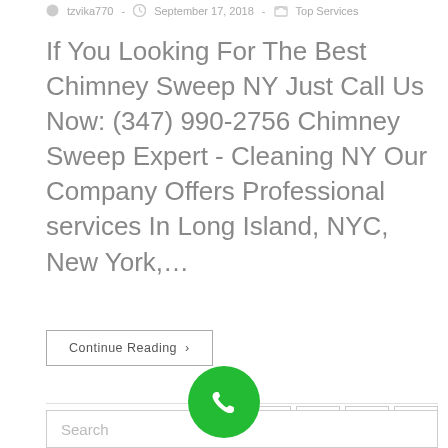tzvika770 - September 17, 2018 - Top Services
If You Looking For The Best Chimney Sweep NY Just Call Us Now: (347) 990-2756 Chimney Sweep Expert - Cleaning NY Our Company Offers Professional services In Long Island, NYC, New York,…
Continue Reading ›
1  2  3  ›
[Figure (other): Green circular phone/call button icon]
Search